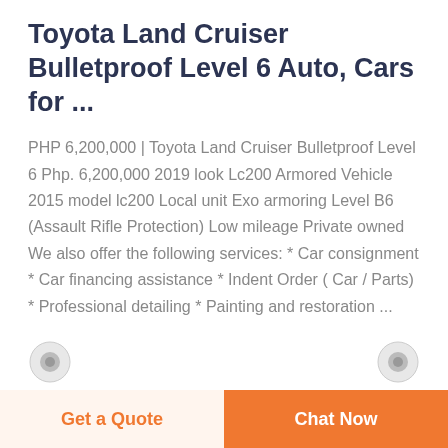Toyota Land Cruiser Bulletproof Level 6 Auto, Cars for ...
PHP 6,200,000 | Toyota Land Cruiser Bulletproof Level 6 Php. 6,200,000 2019 look Lc200 Armored Vehicle 2015 model lc200 Local unit Exo armoring Level B6 (Assault Rifle Protection) Low mileage Private owned We also offer the following services: * Car consignment * Car financing assistance * Indent Order ( Car / Parts) * Professional detailing * Painting and restoration ...
[Figure (other): Two circular icon badges partially visible at the bottom of the content area]